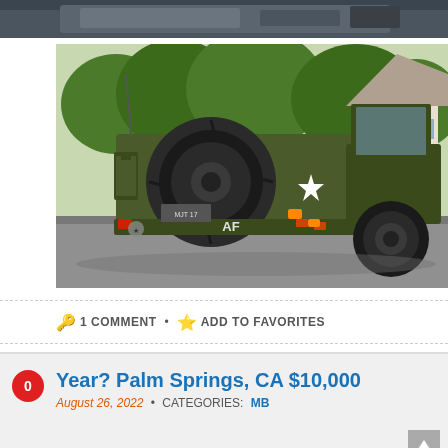[Figure (photo): Top portion of a vehicle photo, partially cropped, showing dark interior elements]
[Figure (photo): Military jeep (olive drab) viewed from rear-quarter angle, with spare tire mounted on back, white star marking, 'AF' stencil on bumper, parked on suburban street with green trees and house visible in background]
1 COMMENT • ADD TO FAVORITES
Year? Palm Springs, CA $10,000
August 26, 2022 • CATEGORIES: MB